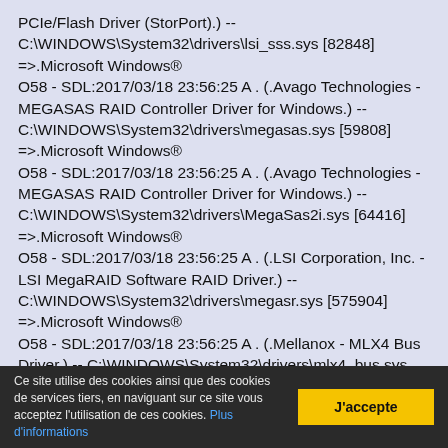PCIe/Flash Driver (StorPort).) -- C:\WINDOWS\System32\drivers\lsi_sss.sys [82848] =>.Microsoft Windows®
O58 - SDL:2017/03/18 23:56:25 A . (.Avago Technologies - MEGASAS RAID Controller Driver for Windows.) -- C:\WINDOWS\System32\drivers\megasas.sys [59808] =>.Microsoft Windows®
O58 - SDL:2017/03/18 23:56:25 A . (.Avago Technologies - MEGASAS RAID Controller Driver for Windows.) -- C:\WINDOWS\System32\drivers\MegaSas2i.sys [64416] =>.Microsoft Windows®
O58 - SDL:2017/03/18 23:56:25 A . (.LSI Corporation, Inc. - LSI MegaRAID Software RAID Driver.) -- C:\WINDOWS\System32\drivers\megasr.sys [575904] =>.Microsoft Windows®
O58 - SDL:2017/03/18 23:56:25 A . (.Mellanox - MLX4 Bus Driver.) -- C:\WINDOWS\System32\drivers\mlx4_bus.sys [842656] =>.Microsoft Windows®
O58 - SDL:2017/03/18 23:56:25 A . (.Marvell Semiconductor,
Ce site utilise des cookies ainsi que des cookies de services tiers, en naviguant sur ce site vous acceptez l'utilisation de ces cookies. Plus d'informations